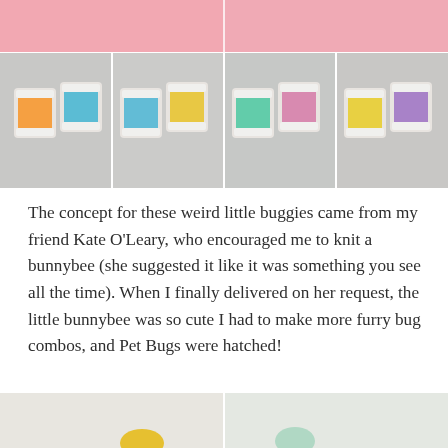[Figure (photo): Collage of photos showing colorful thread/yarn spools on bobbins arranged in pairs on a light gray background. Top portion has a pink background. Four quadrants show different color combinations: orange and blue, blue and yellow, green and pink, yellow and purple.]
The concept for these weird little buggies came from my friend Kate O'Leary, who encouraged me to knit a bunnybee (she suggested it like it was something you see all the time). When I finally delivered on her request, the little bunnybee was so cute I had to make more furry bug combos, and Pet Bugs were hatched!
[Figure (photo): Bottom partial photo showing colorful items on a white/light background, cropped at bottom of page.]